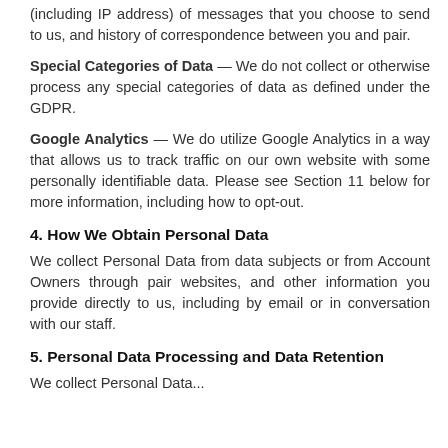(including IP address) of messages that you choose to send to us, and history of correspondence between you and pair.
Special Categories of Data — We do not collect or otherwise process any special categories of data as defined under the GDPR.
Google Analytics — We do utilize Google Analytics in a way that allows us to track traffic on our own website with some personally identifiable data. Please see Section 11 below for more information, including how to opt-out.
4. How We Obtain Personal Data
We collect Personal Data from data subjects or from Account Owners through pair websites, and other information you provide directly to us, including by email or in conversation with our staff.
5. Personal Data Processing and Data Retention
We collect Personal Data...